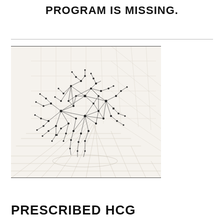PROGRAM IS MISSING.
[Figure (illustration): A 3D network graph illustration showing a spiky spherical node structure with connecting lines forming a complex mesh, set against a geometric grid perspective background in light grey/off-white tones, rendered in pencil/ink style.]
PRESCRIBED HCG